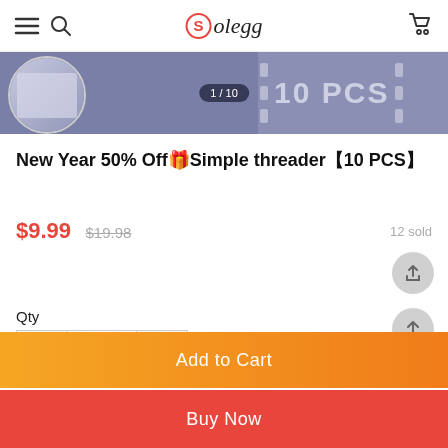Solegg - navigation bar with menu, search, and cart icons
[Figure (photo): Product image strip showing a circular mirror/product image on the left, a '1 / 10' counter badge in the center, and '10 PCS' text with film strip holes on the right, all on a purple-grey background]
New Year 50% Off🎁Simple threader【10 PCS】
$9.99  $19.98   12 sold
Qty
- 1 +
Add to Cart
Buy Now